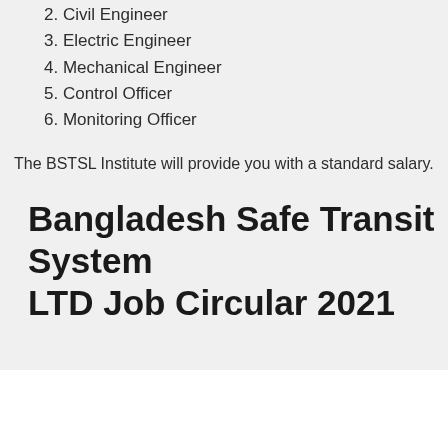2. Civil Engineer
3. Electric Engineer
4. Mechanical Engineer
5. Control Officer
6. Monitoring Officer
The BSTSL Institute will provide you with a standard salary.
Bangladesh Safe Transit System LTD Job Circular 2021